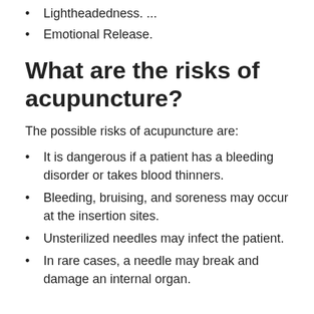Lightheadedness. ...
Emotional Release.
What are the risks of acupuncture?
The possible risks of acupuncture are:
It is dangerous if a patient has a bleeding disorder or takes blood thinners.
Bleeding, bruising, and soreness may occur at the insertion sites.
Unsterilized needles may infect the patient.
In rare cases, a needle may break and damage an internal organ.